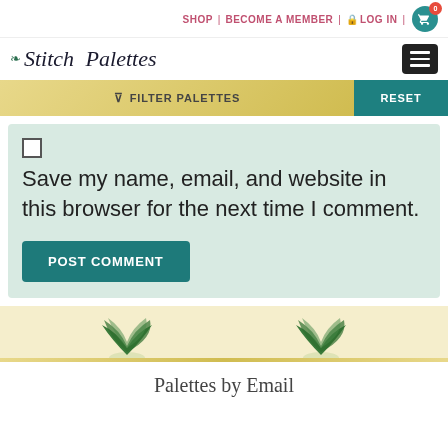SHOP | BECOME A MEMBER | LOG IN | 0
Stitch Palettes
FILTER PALETTES   RESET
Save my name, email, and website in this browser for the next time I comment.
POST COMMENT
Palettes by Email